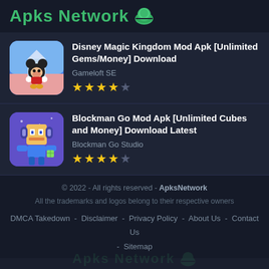Apks Network
[Figure (screenshot): Disney Magic Kingdom game app thumbnail with Mickey Mouse]
Disney Magic Kingdom Mod Apk [Unlimited Gems/Money] Download
Gameloft SE
★★★★☆
[Figure (screenshot): Blockman Go game app thumbnail with blocky character]
Blockman Go Mod Apk [Unlimited Cubes and Money] Download Latest
Blockman Go Studio
★★★★☆
© 2022 - All rights reserved - ApksNetwork
All the trademarks and logos belong to their respective owners
DMCA Takedown - Disclaimer - Privacy Policy - About Us - Contact Us - Sitemap